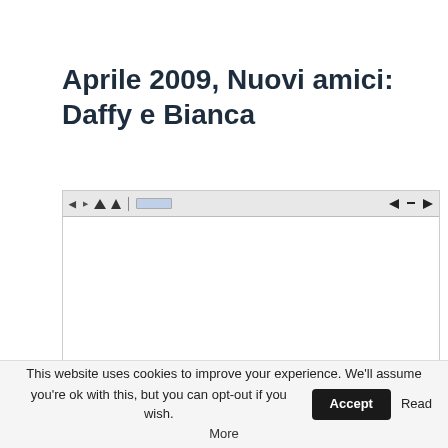Aprile 2009, Nuovi amici: Daffy e Bianca
[Figure (screenshot): A browser screenshot showing a webpage, with a browser toolbar at the top containing navigation icons and an address bar. The main content area is mostly white/blank.]
This website uses cookies to improve your experience. We'll assume you're ok with this, but you can opt-out if you wish. Accept Read More